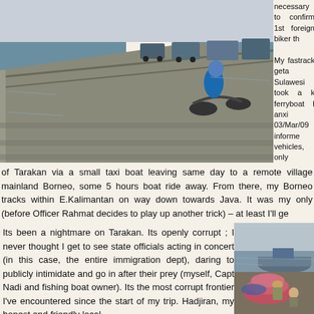[Figure (photo): Pier/dock scene with motorcycles and trucks driving along a long waterfront pier, water visible on both sides]
necessary to confirm 1st foreign biker th

My fastrack geta Sulawesi took a k ferryboat I anxi 03/Mar/09 informe vehicles, only managed to locate
of Tarakan via a small taxi boat leaving same day to a remote village mainland Borneo, some 5 hours boat ride away. From there, my Borneo tracks within E.Kalimantan on way down towards Java. It was my only (before Officer Rahmat decides to play up another trick) – at least I'll ge
Its been a nightmare on Tarakan. Its openly corrupt ; I never thought I get to see state officials acting in concert (in this case, the entire immigration dept), daring to publicly intimidate and go in after their prey (myself, Capt Nadi and fishing boat owner). Its the most corrupt frontier I've encountered since the start of my trip. Hadjiran, my honest and friendly local
[Figure (photo): Harbor scene with workers loading cargo (pink/red sacks) onto a boat, sea and overcast sky in background]